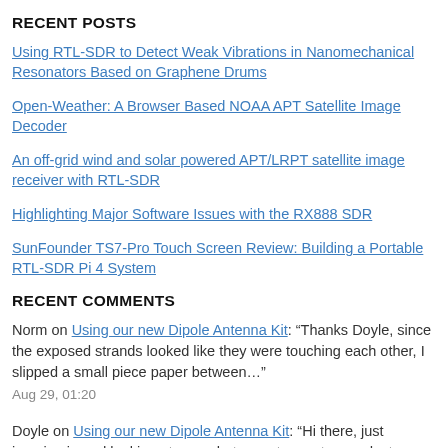RECENT POSTS
Using RTL-SDR to Detect Weak Vibrations in Nanomechanical Resonators Based on Graphene Drums
Open-Weather: A Browser Based NOAA APT Satellite Image Decoder
An off-grid wind and solar powered APT/LRPT satellite image receiver with RTL-SDR
Highlighting Major Software Issues with the RX888 SDR
SunFounder TS7-Pro Touch Screen Review: Building a Portable RTL-SDR Pi 4 System
RECENT COMMENTS
Norm on Using our new Dipole Antenna Kit: “Thanks Doyle, since the exposed strands looked like they were touching each other, I slipped a small piece paper between…” Aug 29, 01:20
Doyle on Using our new Dipole Antenna Kit: “Hi there, just jumping in and looking at your photo, center center conductor